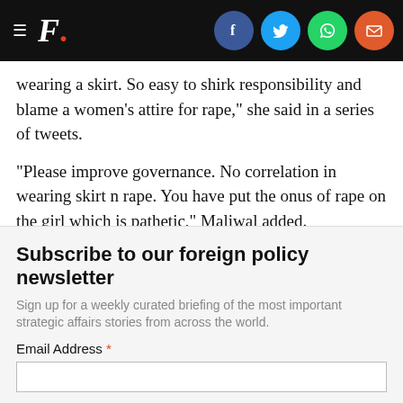F. [with social icons: Facebook, Twitter, WhatsApp, Email]
wearing a skirt. So easy to shirk responsibility and blame a women's attire for rape," she said in a series of tweets.
"Please improve governance. No correlation in wearing skirt n rape. You have put the onus of rape on the girl which is pathetic," Maliwal added.
Updated Date:   August 30, 2016 08:16:52 IST
TAGS:  Arvind Kejriwal  |  Kejriwal Comment On Mahesh Sharma's Skir…
Subscribe to our foreign policy newsletter
Sign up for a weekly curated briefing of the most important strategic affairs stories from across the world.
Email Address *